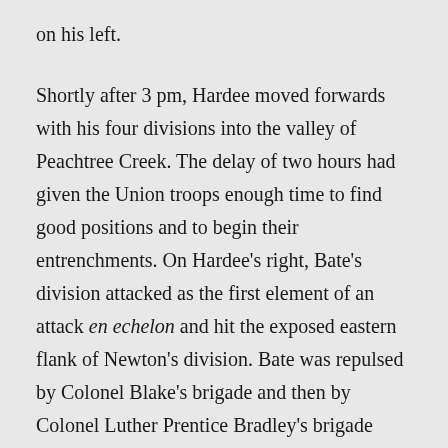on his left.
Shortly after 3 pm, Hardee moved forwards with his four divisions into the valley of Peachtree Creek. The delay of two hours had given the Union troops enough time to find good positions and to begin their entrenchments. On Hardee's right, Bate's division attacked as the first element of an attack en echelon and hit the exposed eastern flank of Newton's division. Bate was repulsed by Colonel Blake's brigade and then by Colonel Luther Prentice Bradley's brigade (3/2/IV) which moved in from reserve. Walker's attack hit next and was stopped by Newton's two front line brigades of Blake and Brigadier-General Nathan Kimball (1/2/IV). Maney's